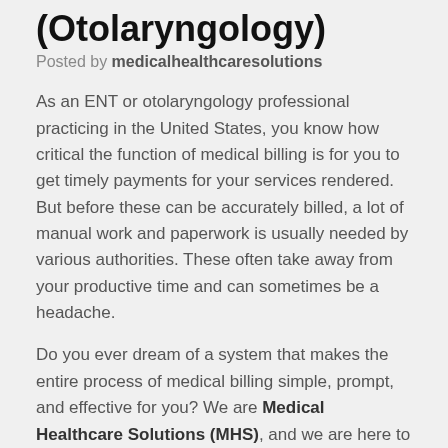(Otolaryngology)
Posted by medicalhealthcaresolutions
As an ENT or otolaryngology professional practicing in the United States, you know how critical the function of medical billing is for you to get timely payments for your services rendered. But before these can be accurately billed, a lot of manual work and paperwork is usually needed by various authorities. These often take away from your productive time and can sometimes be a headache.
Do you ever dream of a system that makes the entire process of medical billing simple, prompt, and effective for you? We are Medical Healthcare Solutions (MHS), and we are here to do just the above for you.
Making a Billable Claim with